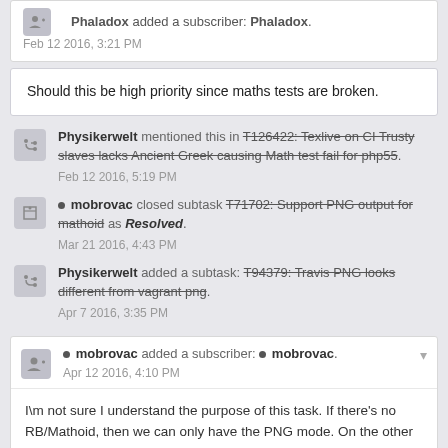Phaladox added a subscriber: Phaladox.
Feb 12 2016, 3:21 PM
Should this be high priority since maths tests are broken.
Physikerwelt mentioned this in T126422: Texlive on CI Trusty slaves lacks Ancient Greek causing Math test fail for php55.
Feb 12 2016, 5:19 PM
mobrovac closed subtask T71702: Support PNG output for mathoid as Resolved.
Mar 21 2016, 4:43 PM
Physikerwelt added a subtask: T94379: Travis PNG looks different from vagrant png.
Apr 7 2016, 3:35 PM
mobrovac added a subscriber: mobrovac.
Apr 12 2016, 4:10 PM
I\m not sure I understand the purpose of this task. If there's no RB/Mathoid, then we can only have the PNG mode. On the other hand, we might instruct administrators that cannot or do not wish to